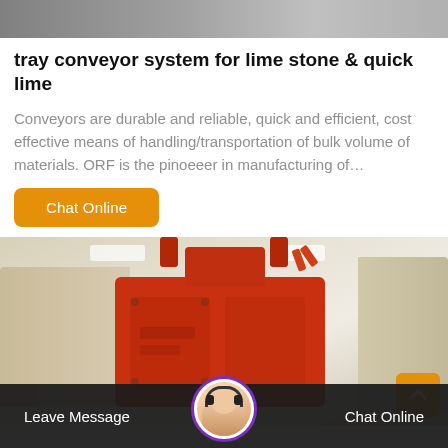[Figure (photo): Top partial photo of industrial conveyor/machinery, grey tones]
tray conveyor system for lime stone & quick lime
Conveyors are durable and reliable, quick and efficient, cost effective means of handling/transportation of bulk volume of materials. ORF is the pinoeeer in manufacturing of…
Chat Online
[Figure (photo): Industrial photo of large red heavy machinery (crusher or mill) inside a warehouse/factory with beige/tan equipment in background]
Leave Message   Chat Online